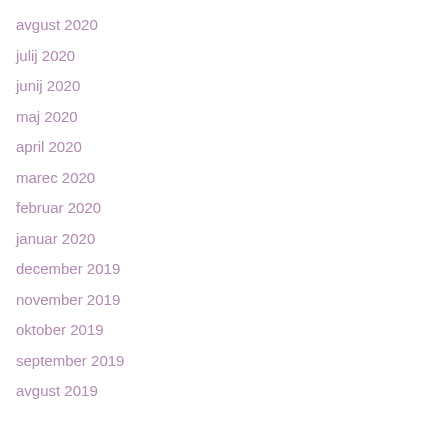avgust 2020
julij 2020
junij 2020
maj 2020
april 2020
marec 2020
februar 2020
januar 2020
december 2019
november 2019
oktober 2019
september 2019
avgust 2019